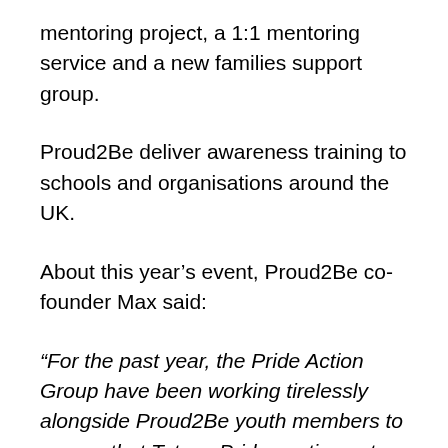mentoring project, a 1:1 mentoring service and a new families support group.
Proud2Be deliver awareness training to schools and organisations around the UK.
About this year's event, Proud2Be co-founder Max said:
“For the past year, the Pride Action Group have been working tirelessly alongside Proud2Be youth members to ensure that Totnes Pride continues to be an inclusive and thoughtful event that we can all be proud of. For us, Pride is both a celebration and